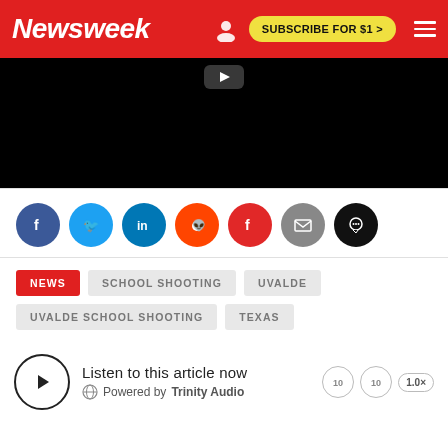Newsweek — SUBSCRIBE FOR $1 >
[Figure (screenshot): Black video player area with play icon visible at top]
[Figure (infographic): Social share buttons: Facebook (blue), Twitter (light blue), LinkedIn (dark blue), Reddit (orange), Flipboard (red), Email (gray), Comments (black)]
NEWS   SCHOOL SHOOTING   UVALDE   UVALDE SCHOOL SHOOTING   TEXAS
Listen to this article now — Powered by Trinity Audio — 1.0x